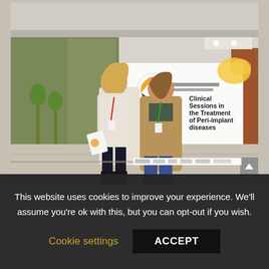[Figure (photo): Two people (a woman and a man) standing in front of a conference banner that reads 'Clinical Sessions in the Treatment of Peri-implant diseases' with welcome text in multiple languages (Welcome, Bienvenidos, Willkommen). The banner has a colorful circular logo. Setting is outside a modern building.]
This website uses cookies to improve your experience. We'll assume you're ok with this, but you can opt-out if you wish.
Cookie settings   ACCEPT